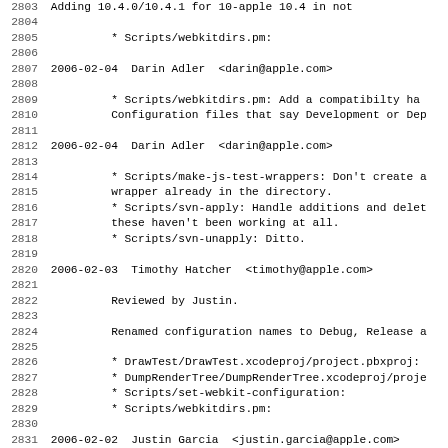Source code changelog / commit log lines 2803-2835
2803 (partial top line)
2804
2805   * Scripts/webkitdirs.pm:
2806
2807 2006-02-04  Darin Adler  <darin@apple.com>
2808
2809   * Scripts/webkitdirs.pm: Add a compatibilty ha
2810   Configuration files that say Development or Dep
2811
2812 2006-02-04  Darin Adler  <darin@apple.com>
2813
2814   * Scripts/make-js-test-wrappers: Don't create a
2815   wrapper already in the directory.
2816   * Scripts/svn-apply: Handle additions and delet
2817   these haven't been working at all.
2818   * Scripts/svn-unapply: Ditto.
2819
2820 2006-02-03  Timothy Hatcher  <timothy@apple.com>
2821
2822   Reviewed by Justin.
2823
2824   Renamed configuration names to Debug, Release a
2825
2826   * DrawTest/DrawTest.xcodeproj/project.pbxproj:
2827   * DumpRenderTree/DumpRenderTree.xcodeproj/proje
2828   * Scripts/set-webkit-configuration:
2829   * Scripts/webkitdirs.pm:
2830
2831 2006-02-02  Justin Garcia  <justin.garcia@apple.com>
2832
2833   Reviewed by thatcher
2834
2835   Enabled spell checking for layout tests.